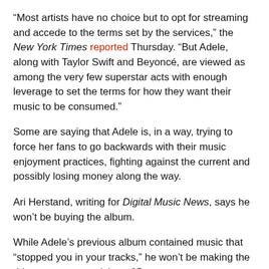“Most artists have no choice but to opt for streaming and accede to the terms set by the services,” the New York Times reported Thursday. “But Adele, along with Taylor Swift and Beyoncé, are viewed as among the very few superstar acts with enough leverage to set the terms for how they want their music to be consumed.”
Some are saying that Adele is, in a way, trying to force her fans to go backwards with their music enjoyment practices, fighting against the current and possibly losing money along the way.
Ari Herstand, writing for Digital Music News, says he won’t be buying the album.
While Adele’s previous album contained music that “stopped you in your tracks,” he won’t be making the drive to a store to pick up 25.
“Why? Because I don’t buy CDs anymore,” he writes. “The process of importing a CD into a computer (which no longer